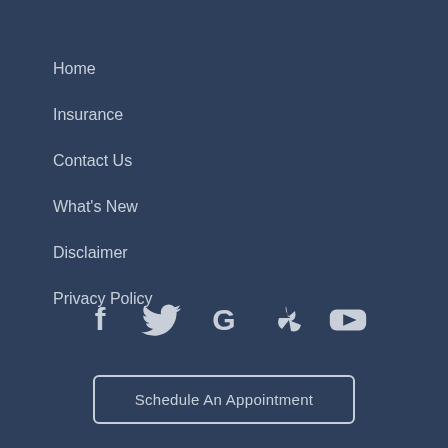Home
Insurance
Contact Us
What's New
Disclaimer
Privacy Policy
[Figure (illustration): Social media icons row: Facebook, Twitter, Google, Yelp, YouTube]
Schedule An Appointment